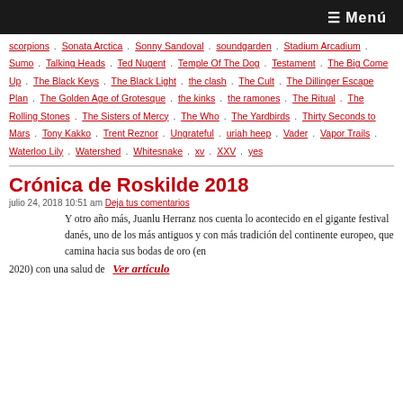≡ Menú
scorpions · Sonata Arctica · Sonny Sandoval · soundgarden · Stadium Arcadium · Sumo · Talking Heads · Ted Nugent · Temple Of The Dog · Testament · The Big Come Up · The Black Keys · The Black Light · the clash · The Cult · The Dillinger Escape Plan · The Golden Age of Grotesque · the kinks · the ramones · The Ritual · The Rolling Stones · The Sisters of Mercy · The Who · The Yardbirds · Thirty Seconds to Mars · Tony Kakko · Trent Reznor · Ungrateful · uriah heep · Vader · Vapor Trails · Waterloo Lily · Watershed · Whitesnake · xv · XXV · yes
Crónica de Roskilde 2018
julio 24, 2018 10:51 am  Deja tus comentarios
Y otro año más, Juanlu Herranz nos cuenta lo acontecido en el gigante festival danés, uno de los más antiguos y con más tradición del continente europeo, que camina hacia sus bodas de oro (en 2020) con una salud de   Ver artículo